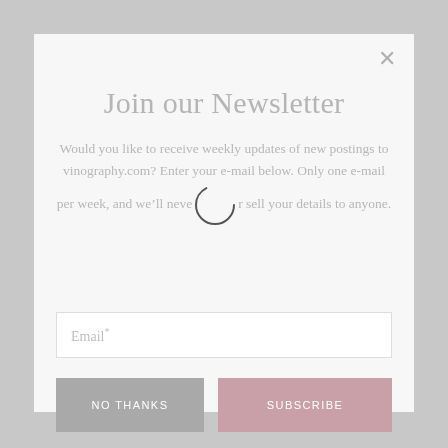Join our Newsletter
Would you like to receive weekly updates of new postings to vinography.com? Enter your e-mail below. Only one e-mail per week, and we’ll never sell your details to anyone.
Email*
NO THANKS
SUBSCRIBE